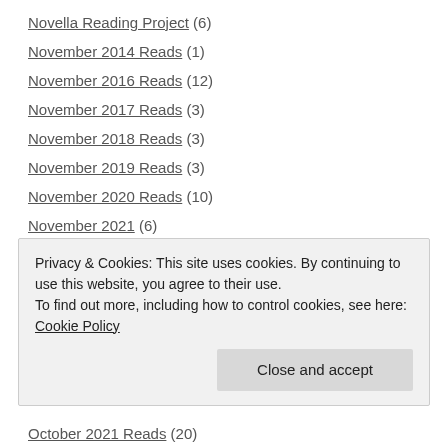Novella Reading Project (6)
November 2014 Reads (1)
November 2016 Reads (12)
November 2017 Reads (3)
November 2018 Reads (3)
November 2019 Reads (3)
November 2020 Reads (10)
November 2021 (6)
November 2021 Reads (6)
NYRB Children's Collection (2)
NYRB Classics (9)
Ocean Vuong (1)
October 2016 Reads (?)
Privacy & Cookies: This site uses cookies. By continuing to use this website, you agree to their use.
To find out more, including how to control cookies, see here: Cookie Policy
October 2021 Reads (20)